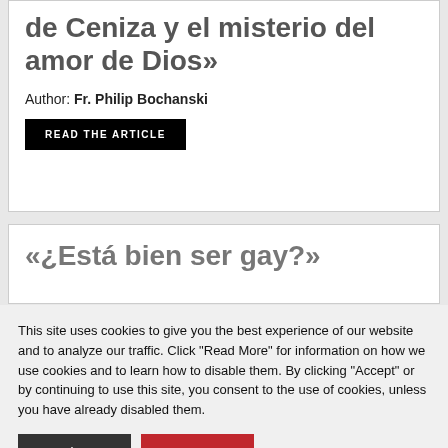de Ceniza y el misterio del amor de Dios»
Author: Fr. Philip Bochanski
READ THE ARTICLE
«¿Está bien ser gay?»
This site uses cookies to give you the best experience of our website and to analyze our traffic. Click "Read More" for information on how we use cookies and to learn how to disable them. By clicking "Accept" or by continuing to use this site, you consent to the use of cookies, unless you have already disabled them.
Read More
ACCEPT